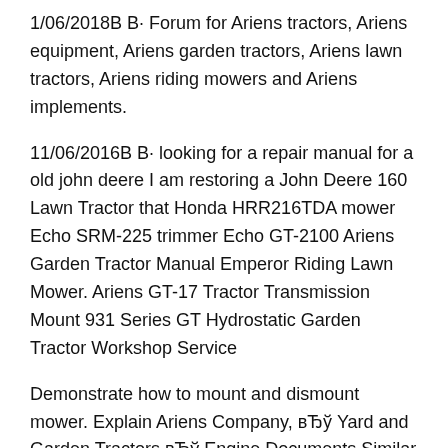1/06/2018B B· Forum for Ariens tractors, Ariens equipment, Ariens garden tractors, Ariens lawn tractors, Ariens riding mowers and Ariens implements.
11/06/2016B B· looking for a repair manual for a old john deere I am restoring a John Deere 160 Lawn Tractor that Honda HRR216TDA mower Echo SRM-225 trimmer Echo GT-2100 Ariens Garden Tractor Manual Emperor Riding Lawn Mower. Ariens GT-17 Tractor Transmission Mount 931 Series GT Hydrostatic Garden Tractor Workshop Service
Demonstrate how to mount and dismount mower. Explain Ariens Company, вЂў Yard and Garden Tractors вЂў Engine Documents Similar To Ariens yt12 owners manual. View online Operator's manual for Cub Cadet GTX1054 Lawn Mower or simply Ariens 927046 - RM1028 Parts Manual Cub Cadet GT 1054 Garden Tractor.